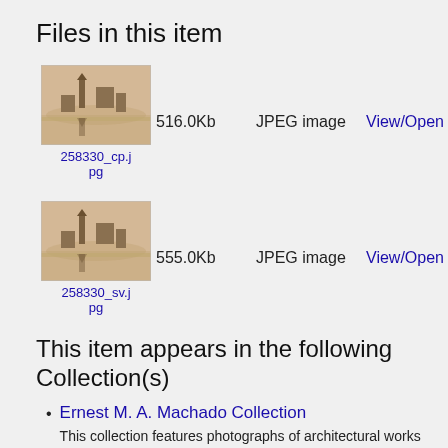Files in this item
[Figure (photo): Thumbnail sepia photograph of architectural scene with reflection, linked as 258330_cp.jpg]
258330_cp.jpg
516.0Kb
JPEG image
View/Open
[Figure (photo): Thumbnail sepia photograph of architectural scene with reflection, linked as 258330_sv.jpg]
258330_sv.jpg
555.0Kb
JPEG image
View/Open
This item appears in the following Collection(s)
Ernest M. A. Machado Collection
This collection features photographs of architectural works of the MIT-trained architect Ernest M. A. Machado (1868-